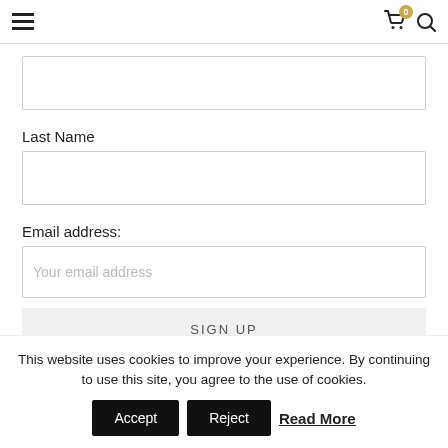☰ [cart icon with badge 0] [search icon]
Last Name
Email address:
Your email address
SIGN UP
This website uses cookies to improve your experience. By continuing to use this site, you agree to the use of cookies.
Accept  Reject  Read More